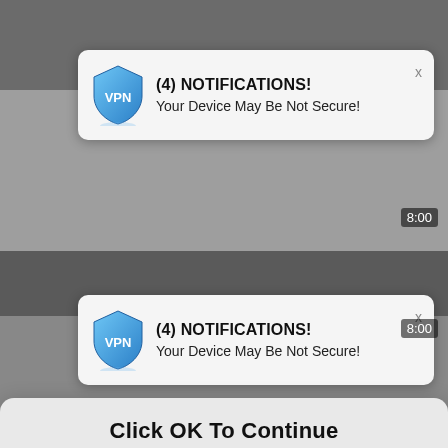[Figure (screenshot): First notification popup: VPN shield icon, title '(4) NOTIFICATIONS!', body 'Your Device May Be Not Secure!', close x button]
[Figure (screenshot): Second notification popup: VPN shield icon, title '(4) NOTIFICATIONS!', body 'Your Device May Be Not Secure!', close x button]
[Figure (screenshot): Alert dialog overlay with text 'Click OK To Continue' and OK button, plus partial text 'Downcast Legal app...anager Bree Mi...']
[Figure (screenshot): Video thumbnail in background showing a person, with timer '8:00']